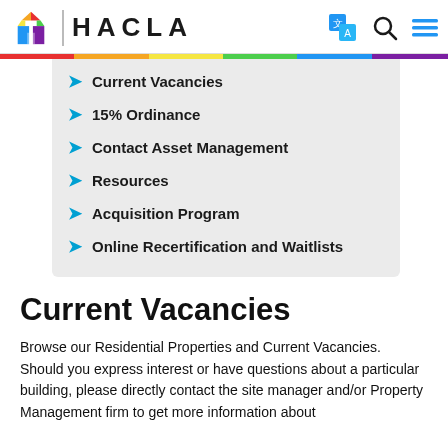HACLA
Current Vacancies
15% Ordinance
Contact Asset Management
Resources
Acquisition Program
Online Recertification and Waitlists
Current Vacancies
Browse our Residential Properties and Current Vacancies. Should you express interest or have questions about a particular building, please directly contact the site manager and/or Property Management firm to get more information about